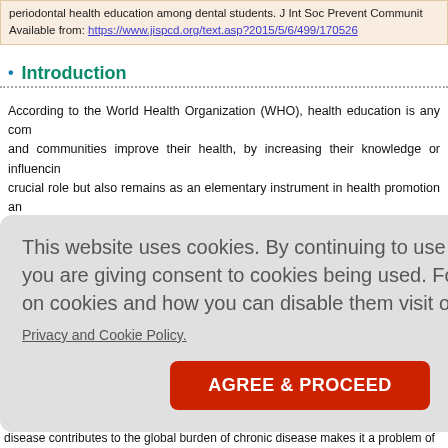periodontal health education among dental students. J Int Soc Prevent Communit... Available from: https://www.jispcd.org/text.asp?2015/5/6/499/170526
Introduction
According to the World Health Organization (WHO), health education is any com... and communities improve their health, by increasing their knowledge or influencin... crucial role but also remains as an elementary instrument in health promotion an... important that health education should not just confine to the transmission of
This website uses cookies. By continuing to use this website you are giving consent to cookies being used. For information on cookies and how you can disable them visit our Privacy and Cookie Policy. AGREE & PROCEED
nd adapt to... nation and m... with appro... gn their lifes...
a shift in... emphasize... many practi... s from the fie...
ubstantial p... disease contributes to the global burden of chronic disease makes it a problem of...